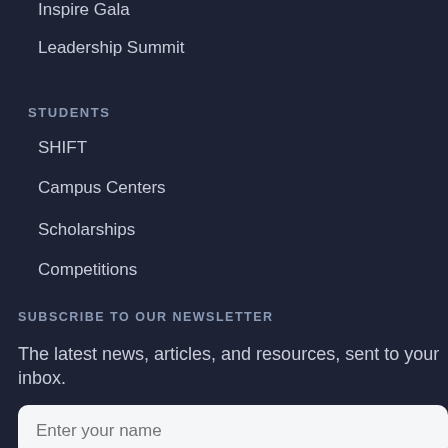Inspire Gala
Leadership Summit
STUDENTS
SHIFT
Campus Centers
Scholarships
Competitions
ABOUT
Mission
Vision
Leadership
Contact Us
SUBSCRIBE TO OUR NEWSLETTER
The latest news, articles, and resources, sent to your inbox.